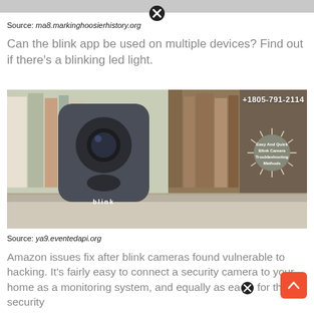Source: ma8.markinghoosierhistory.org
Can the blink app be used on multiple devices? Find out if there's a blinking led light.
[Figure (photo): A Blink security camera sitting on a shelf in front of books, with a circular badge overlay reading 'Easy And Quick Blink Camera Troubleshooting Methods' and phone number +1805-791-2114]
Source: ya9.eventedapi.org
Amazon issues fix after blink cameras found vulnerable to hacking. It's fairly easy to connect a security camera to your home as a monitoring system, and equally as easy for those security